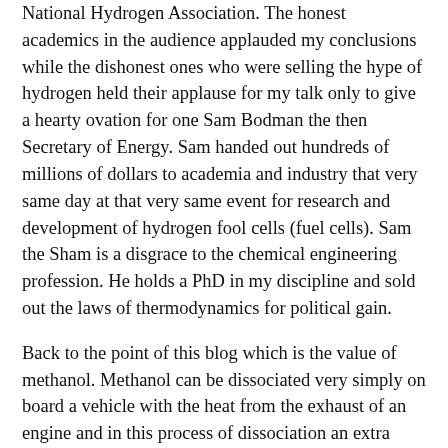National Hydrogen Association. The honest academics in the audience applauded my conclusions while the dishonest ones who were selling the hype of hydrogen held their applause for my talk only to give a hearty ovation for one Sam Bodman the then Secretary of Energy. Sam handed out hundreds of millions of dollars to academia and industry that very same day at that very same event for research and development of hydrogen fool cells (fuel cells). Sam the Sham is a disgrace to the chemical engineering profession. He holds a PhD in my discipline and sold out the laws of thermodynamics for political gain.
Back to the point of this blog which is the value of methanol. Methanol can be dissociated very simply on board a vehicle with the heat from the exhaust of an engine and in this process of dissociation an extra 19% of useful fuel energy is gained from the otherwise wasted heat exhausted from the engine. Back in 2005 I theorized that a gasoline engine augmented with a small fraction of dissociated methanol will be very efficient and powerful. Nothing I have read or learned in the past five years has dissuaded me from my belief that this dual fuel engine is a far better solution from an efficiency and cost perspective than the plug in battery...